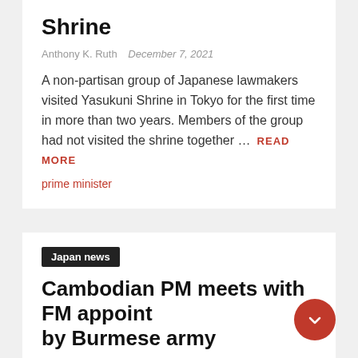Shrine
Anthony K. Ruth   December 7, 2021
A non-partisan group of Japanese lawmakers visited Yasukuni Shrine in Tokyo for the first time in more than two years. Members of the group had not visited the shrine together …  READ MORE
prime minister
Japan news
Cambodian PM meets with FM appointed by Burmese army